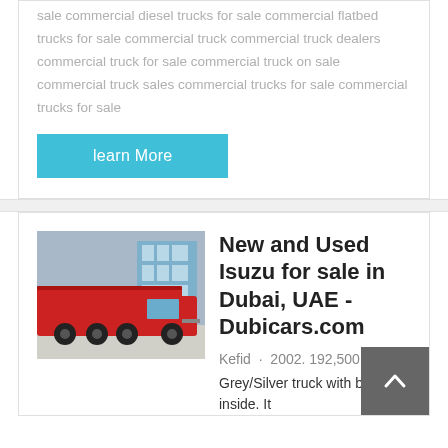sale commercial diesel trucks for sale commercial flatbed trucks for sale commercial truck commercial truck dealers commercial truck for sale commercial truck on sale commercial truck sales commercial trucks for sale commercial trucks for sale
learn More
[Figure (photo): Red dump truck / semi-truck parked in front of a building]
New and Used Isuzu for sale in Dubai, UAE - Dubicars.com
Kefid · 2002. 192,500 km.
Grey/Silver truck with black inside. It